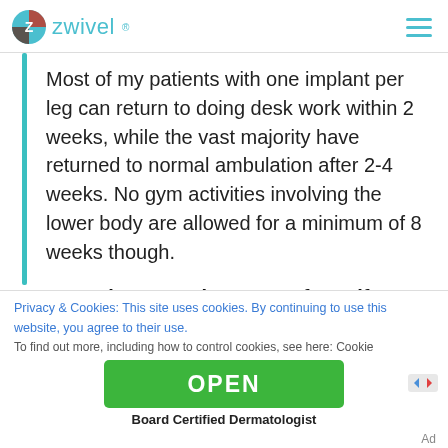zwivel
Most of my patients with one implant per leg can return to doing desk work within 2 weeks, while the vast majority have returned to normal ambulation after 2-4 weeks. No gym activities involving the lower body are allowed for a minimum of 8 weeks though.
Do patients coming to you for calf augmentation ever back down once they
Privacy & Cookies: This site uses cookies. By continuing to use this website, you agree to their use. To find out more, including how to control cookies, see here: Cookie
[Figure (screenshot): Green OPEN button advertisement banner]
Board Certified Dermatologist
Ad